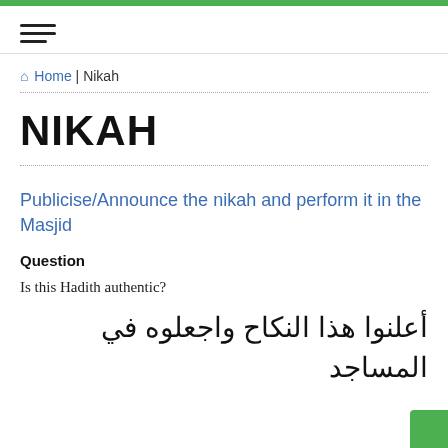Home | Nikah
NIKAH
Publicise/Announce the nikah and perform it in the Masjid
Question
Is this Hadith authentic?
أعلنوا هذا النكاح واجعلوه في المساجد